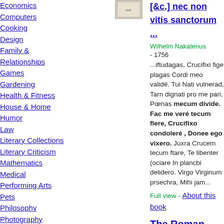Economics
Computers
Cooking
Design
Family & Relationships
Games
Gardening
Health & Fitness
House & Home
Humor
Law
Literary Collections
Literary Criticism
Mathematics
Medical
Performing Arts
Pets
Philosophy
Photography
Poetry
Political Science
Psychology
[&c.] nec non vitis sanctorum ...
Wilhelm Nakatenus
- 1756
...iftudagas, Crucifixi fige plagas Cordi meo validé. Tui Nati vulnerad, Tarn dignati pro me pari, Pœnas mecum divide. Fac me veré tecum flere, Crucifixo condoleré , Donee ego vixero. Juxra Crucem tecum ftare, Te libenter (ociare In plancbi delidero. Virgo Virginum prsechra, Mihi jam...
Full view - About this book
The Roman Missal: For the